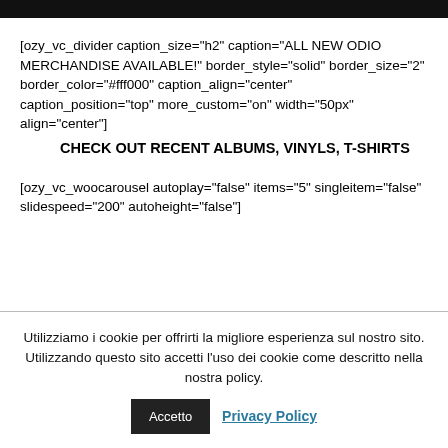[Figure (screenshot): Black bar at top of page]
[ozy_vc_divider caption_size="h2" caption="ALL NEW ODIO MERCHANDISE AVAILABLE!" border_style="solid" border_size="2" border_color="#fff000" caption_align="center" caption_position="top" more_custom="on" width="50px" align="center"]
CHECK OUT RECENT ALBUMS, VINYLS, T-SHIRTS
[ozy_vc_woocarousel autoplay="false" items="5" singleitem="false" slidespeed="200" autoheight="false"]
Utilizziamo i cookie per offrirti la migliore esperienza sul nostro sito. Utilizzando questo sito accetti l'uso dei cookie come descritto nella nostra policy.
Accetto
Privacy Policy